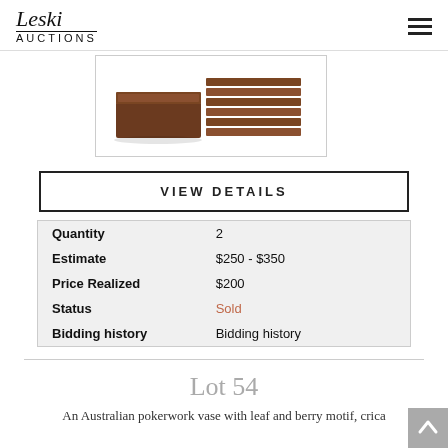Leski AUCTIONS
[Figure (photo): Two brown wooden flat boxes/trays stacked, photographed on white background]
VIEW DETAILS
| Quantity | 2 |
| Estimate | $250 - $350 |
| Price Realized | $200 |
| Status | Sold |
| Bidding history | Bidding history |
Lot 54
An Australian pokerwork vase with leaf and berry motif, crica